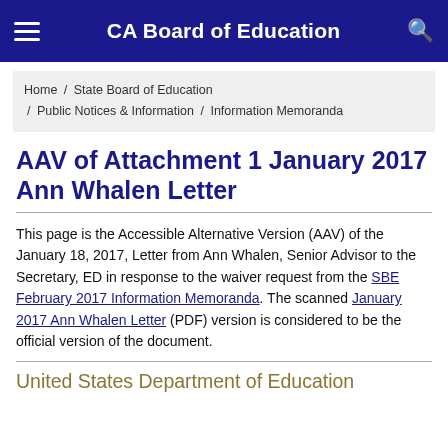CA Board of Education
Home / State Board of Education / Public Notices & Information / Information Memoranda
AAV of Attachment 1 January 2017 Ann Whalen Letter
This page is the Accessible Alternative Version (AAV) of the January 18, 2017, Letter from Ann Whalen, Senior Advisor to the Secretary, ED in response to the waiver request from the SBE February 2017 Information Memoranda. The scanned January 2017 Ann Whalen Letter (PDF) version is considered to be the official version of the document.
United States Department of Education